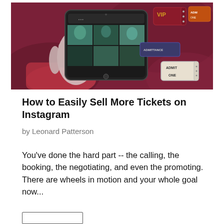[Figure (photo): A hand holding a red smartphone displaying an Instagram-like photo grid, on a dark red/maroon background with VIP, ADMIT ONE, and ADMIT ONE ticket stickers]
How to Easily Sell More Tickets on Instagram
by Leonard Patterson
You've done the hard part -- the calling, the booking, the negotiating, and even the promoting. There are wheels in motion and your whole goal now...